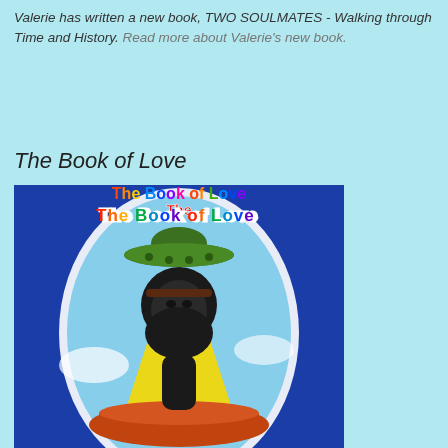Valerie has written a new book, TWO SOULMATES - Walking through Time and History. Read more about Valerie's new book.
The Book of Love
[Figure (illustration): Book cover for 'The Book of Love' showing an illustrated Aboriginal man with a large bushy beard and hair, being beamed up by a flying saucer UFO above him emitting a yellow beam of light, set against a blue sky background with a white oval frame. The title 'The Book of Love' is written in rainbow-colored lettering at the top.]